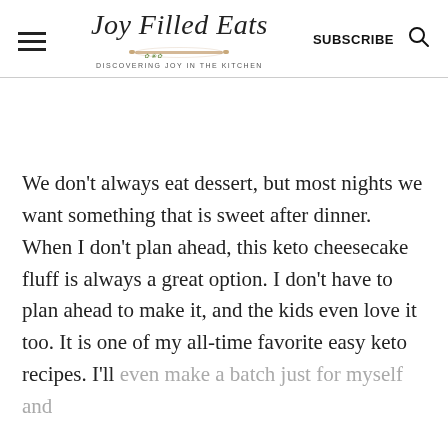Joy Filled Eats — DISCOVERING JOY IN THE KITCHEN | SUBSCRIBE
We don’t always eat dessert, but most nights we want something that is sweet after dinner. When I don’t plan ahead, this keto cheesecake fluff is always a great option. I don’t have to plan ahead to make it, and the kids even love it too. It is one of my all-time favorite easy keto recipes. I'll even make a batch just for myself and